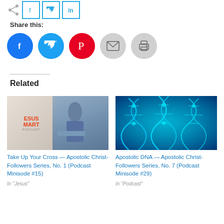Share this:
[Figure (infographic): Social share icons: share icon, Facebook, Twitter, LinkedIn square buttons; then circular Facebook, Twitter, Pinterest, Email, Print buttons]
Related
[Figure (photo): Jesus Smart Podcast logo overlaid on image of person writing at desk]
Take Up Your Cross — Apostolic Christ-Followers Series, No. 1 (Podcast Minisode #15)
In "Jesus"
[Figure (photo): Glowing blue DNA double helix strands on dark background]
Apostolic DNA — Apostolic Christ-Followers Series, No. 7 (Podcast Minisode #29)
In "Podcast"